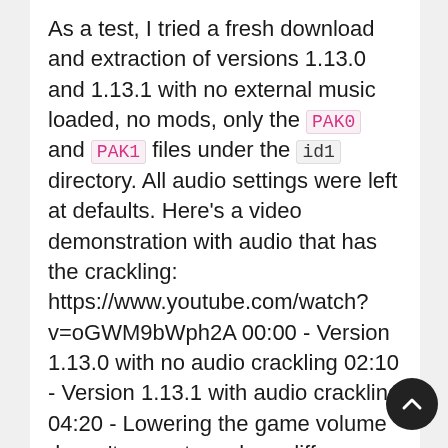As a test, I tried a fresh download and extraction of versions 1.13.0 and 1.13.1 with no external music loaded, no mods, only the PAK0 and PAK1 files under the id1 directory. All audio settings were left at defaults. Here's a video demonstration with audio that has the crackling: https://www.youtube.com/watch?v=oGWM9bWph2A 00:00 - Version 1.13.0 with no audio crackling 02:10 - Version 1.13.1 with audio crackling 04:20 - Lowering the game volume doesn't seem to make a difference